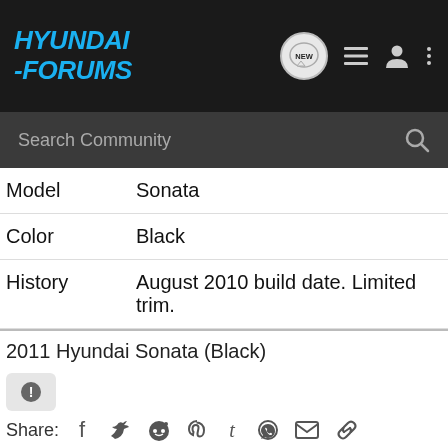HYUNDAI-FORUMS
| Field | Value |
| --- | --- |
| Model | Sonata |
| Color | Black |
| History | August 2010 build date. Limited trim. |
2011 Hyundai Sonata (Black)
Share:
Comments
There are no comments to display.